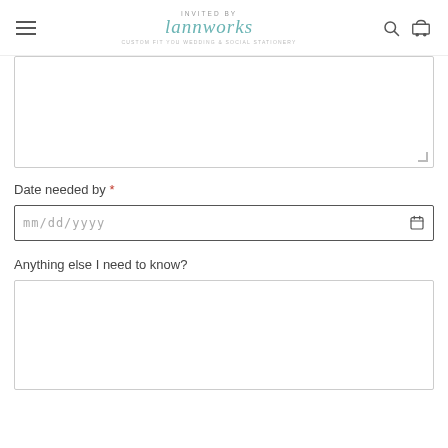INVITED BY lannworks — navigation header with hamburger menu, logo, search and cart icons
[Figure (screenshot): Empty textarea form field (top portion visible, resizable)]
Date needed by *
[Figure (screenshot): Date input field showing placeholder mm/dd/yyyy with calendar icon]
Anything else I need to know?
[Figure (screenshot): Empty textarea form field for additional notes]